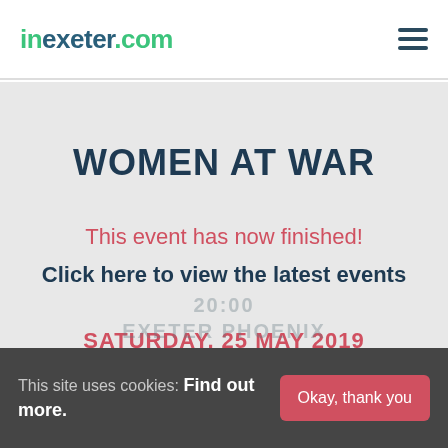inexeter.com
WOMEN AT WAR
This event has now finished!
Click here to view the latest events
SATURDAY, 25 MAY 2019
This site uses cookies: Find out more.
Okay, thank you